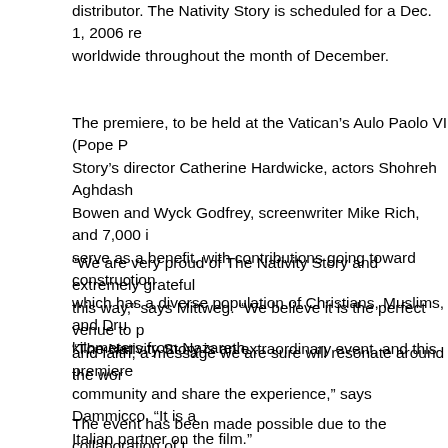distributor. The Nativity Story is scheduled for a Dec. 1, 2006 re... worldwide throughout the month of December.
The premiere, to be held at the Vatican's Aulo Paolo VI (Pope P... Story's director Catherine Hardwicke, actors Shohreh Aghdash... Bowen and Wyck Godfrey, screenwriter Mike Rich, and 7,000 i... serve as a benefit, with contributions going toward construction... which has a diverse population of Christians, Muslims, and Dru... kilometers from Nazareth.
“We are very proud of The Nativity Story and extremely grateful... this way,” says Mittweg. “We believe it is the perfect venue to p... and faith, a message we are sure will resonate around the wor...
“The Nativity Story is an extraordinary event, and this premiere... community and share the experience,” says Dammicco. “It is a... Italian partner on the film.”
The event has been made possible due to the collaboration of t... Pontifical Council for Social Communication, the Vatican Film L... Human and Christian Development), the Vicariate of Vatican Ci...